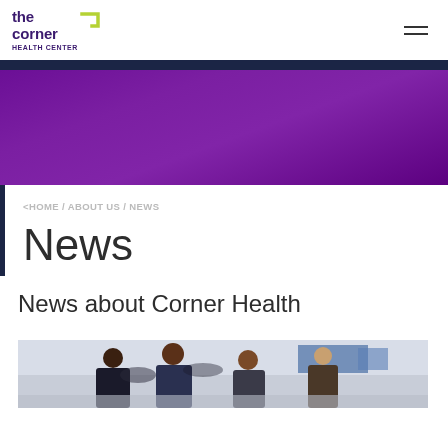the corner HEALTH CENTER
< HOME / ABOUT US / NEWS
News
News about Corner Health
[Figure (photo): Group of young people in a gym setting, appears to show teens at a basketball court or sports facility]